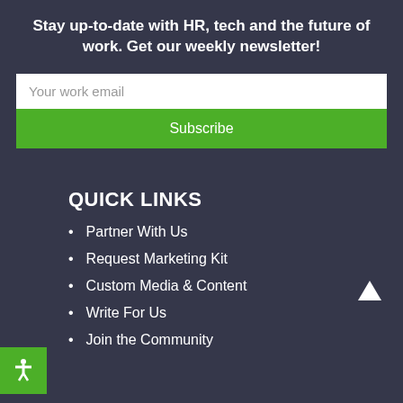Stay up-to-date with HR, tech and the future of work. Get our weekly newsletter!
QUICK LINKS
Partner With Us
Request Marketing Kit
Custom Media & Content
Write For Us
Join the Community